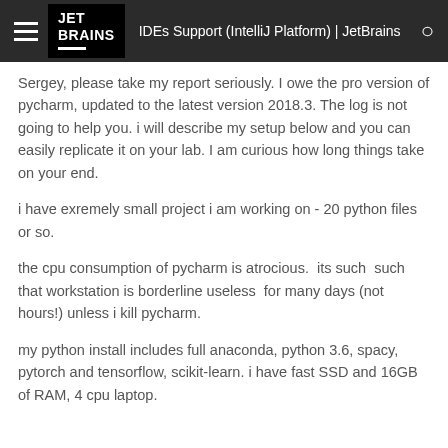IDEs Support (IntelliJ Platform) | JetBrains
Sergey, please take my report seriously. I owe the pro version of pycharm, updated to the latest version 2018.3. The log is not going to help you. i will describe my setup below and you can easily replicate it on your lab. I am curious how long things take on your end.
i have exremely small project i am working on - 20 python files or so.
the cpu consumption of pycharm is atrocious.  its such  such that workstation is borderline useless  for many days (not hours!) unless i kill pycharm.
my python install includes full anaconda, python 3.6, spacy, pytorch and tensorflow, scikit-learn. i have fast SSD and 16GB of RAM, 4 cpu laptop.